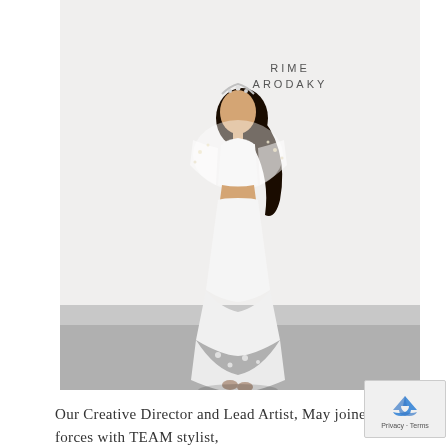[Figure (photo): A model in a white two-piece bridal gown with a sheer embellished top and fitted skirt, wearing a tiara, standing in front of a white backdrop with 'RIME ARODAKY' text visible in the background.]
Our Creative Director and Lead Artist, May joined forces with TEAM stylist,